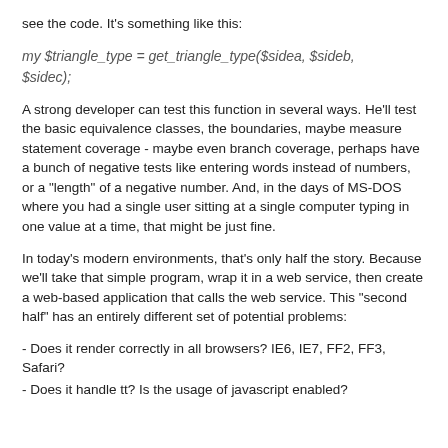see the code. It's something like this:
my $triangle_type = get_triangle_type($sidea, $sideb, $sidec);
A strong developer can test this function in several ways. He'll test the basic equivalence classes, the boundaries, maybe measure statement coverage - maybe even branch coverage, perhaps have a bunch of negative tests like entering words instead of numbers, or a "length" of a negative number. And, in the days of MS-DOS where you had a single user sitting at a single computer typing in one value at a time, that might be just fine.
In today's modern environments, that's only half the story. Because we'll take that simple program, wrap it in a web service, then create a web-based application that calls the web service. This "second half" has an entirely different set of potential problems:
- Does it render correctly in all browsers? IE6, IE7, FF2, FF3, Safari?
- Does it handle tt? Is the usage of javascript enabled?